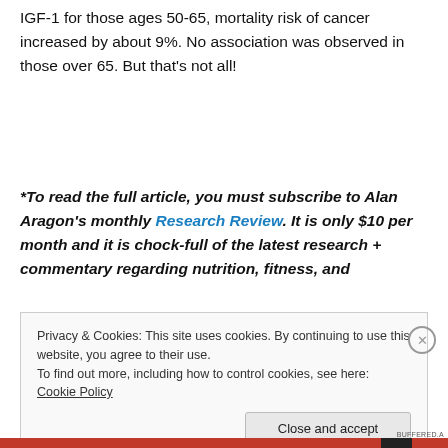IGF-1 for those ages 50-65, mortality risk of cancer increased by about 9%. No association was observed in those over 65. But that’s not all!
*To read the full article, you must subscribe to Alan Aragon’s monthly Research Review. It is only $10 per month and it is chock-full of the latest research + commentary regarding nutrition, fitness, and
Privacy & Cookies: This site uses cookies. By continuing to use this website, you agree to their use.
To find out more, including how to control cookies, see here: Cookie Policy
Close and accept